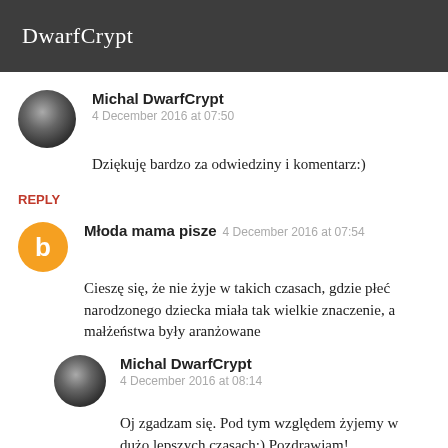DwarfCrypt
Michal DwarfCrypt
4 December 2016 at 07:50
Dziękuję bardzo za odwiedziny i komentarz:)
REPLY
Młoda mama pisze  4 December 2016 at 07:54
Cieszę się, że nie żyje w takich czasach, gdzie płeć narodzonego dziecka miała tak wielkie znaczenie, a małżeństwa były aranżowane
Michal DwarfCrypt
4 December 2016 at 08:14
Oj zgadzam się. Pod tym względem żyjemy w dużo lepszych czasach:) Pozdrawiam!